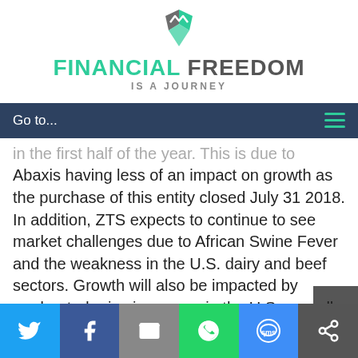[Figure (logo): Financial Freedom Is A Journey logo with geometric icon and teal/grey wordmark]
Go to...
in the first half of the year. This is due to Abaxis having less of an impact on growth as the purchase of this entity closed July 31 2018. In addition, ZTS expects to continue to see market challenges due to African Swine Fever and the weakness in the U.S. dairy and beef sectors. Growth will also be impacted by moderated price increases in the U.S. as well
[Figure (infographic): Social share bar with Twitter, Facebook, Email, WhatsApp, SMS, and other share icons on colored backgrounds]